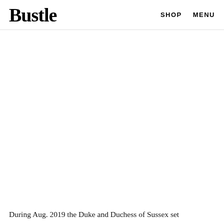Bustle  SHOP  MENU
During Aug. 2019 the Duke and Duchess of Sussex set